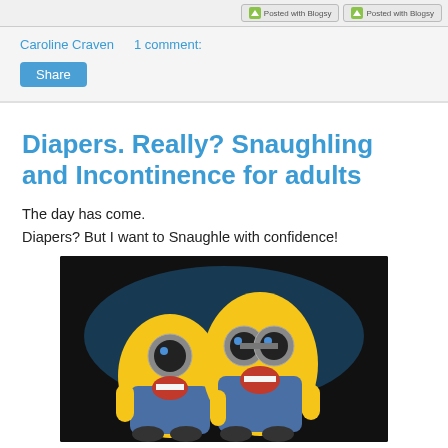Posted with Blogsy  Posted with Blogsy
Caroline Craven    1 comment:
Share
Diapers. Really? Snaughling and Incontinence for adults
The day has come.
Diapers? But I want to Snaughle with confidence!
[Figure (photo): Two animated Minion characters from Despicable Me, looking shocked or scared, standing against a dark background with blue lighting.]